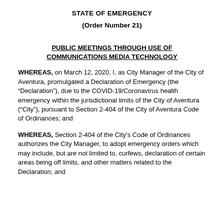STATE OF EMERGENCY
(Order Number 21)
PUBLIC MEETINGS THROUGH USE OF COMMUNICATIONS MEDIA TECHNOLOGY
WHEREAS, on March 12, 2020, I, as City Manager of the City of Aventura, promulgated a Declaration of Emergency (the “Declaration”), due to the COVID-19/Coronavirus health emergency within the jurisdictional limits of the City of Aventura (“City”), pursuant to Section 2-404 of the City of Aventura Code of Ordinances; and
WHEREAS, Section 2-404 of the City’s Code of Ordinances authorizes the City Manager, to adopt emergency orders which may include, but are not limited to, curfews, declaration of certain areas being off limits, and other matters related to the Declaration; and